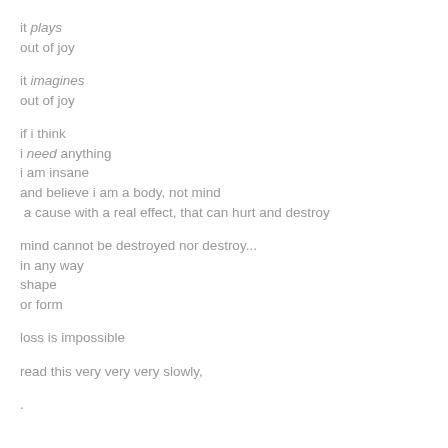it plays
out of joy
it imagines
out of joy
if i think
i need anything
i am insane
and believe i am a body, not mind
 a cause with a real effect, that can hurt and destroy
mind cannot be destroyed nor destroy...
in any way
shape
or form
loss is impossible
read this very very very slowly,
.